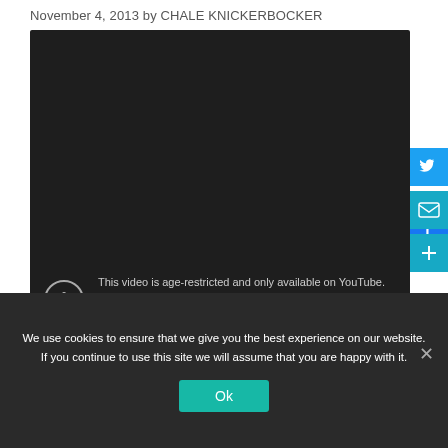November 4, 2013 by CHALE KNICKERBOCKER
[Figure (screenshot): Dark video embed area with age-restriction overlay showing exclamation icon, text 'This video is age-restricted and only available on YouTube. Learn more / Watch on YouTube']
[Figure (illustration): Social share sidebar buttons: Facebook (blue), Twitter (light blue), Email (teal), Share/Plus (teal)]
We use cookies to ensure that we give you the best experience on our website. If you continue to use this site we will assume that you are happy with it.
Ok